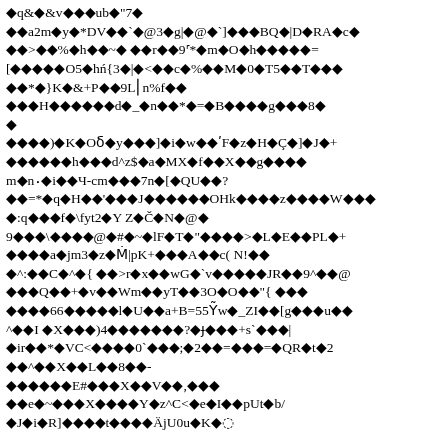Garbled/encoded text content with diamond replacement characters (corrupted or encoded document page). Lines include sequences mixing Latin letters, digits, punctuation and diamond (replacement) characters throughout.